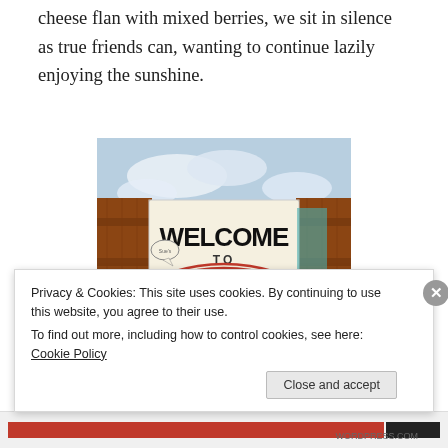cheese flan with mixed berries, we sit in silence as true friends can, wanting to continue lazily enjoying the sunshine.
[Figure (photo): Photo of a 'Welcome to Suzie's Farm' sign with bold black lettering and a green globe logo with a tree, set against a backdrop of wooden fencing and a partly cloudy sky.]
Privacy & Cookies: This site uses cookies. By continuing to use this website, you agree to their use.
To find out more, including how to control cookies, see here: Cookie Policy